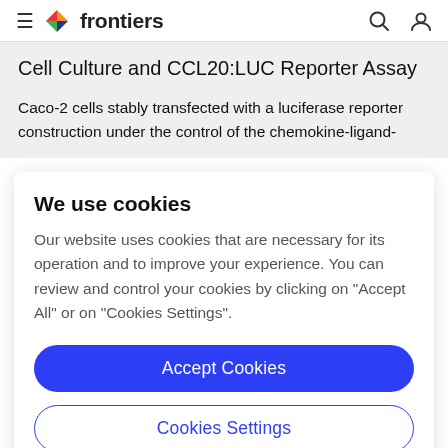frontiers
Cell Culture and CCL20:LUC Reporter Assay
Caco-2 cells stably transfected with a luciferase reporter construction under the control of the chemokine-ligand-
We use cookies
Our website uses cookies that are necessary for its operation and to improve your experience. You can review and control your cookies by clicking on "Accept All" or on "Cookies Settings".
Accept Cookies
Cookies Settings